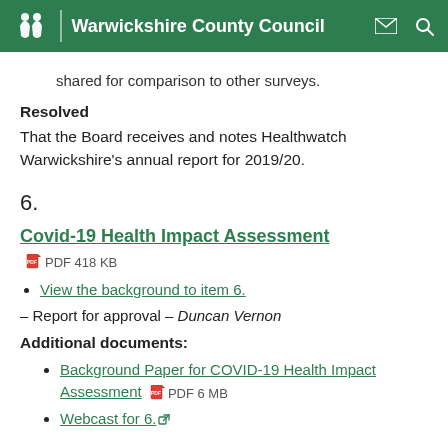Warwickshire County Council
shared for comparison to other surveys.
Resolved
That the Board receives and notes Healthwatch Warwickshire's annual report for 2019/20.
6.
Covid-19 Health Impact Assessment  PDF 418 KB
View the background to item 6.
– Report for approval – Duncan Vernon
Additional documents:
Background Paper for COVID-19 Health Impact Assessment  PDF 6 MB
Webcast for 6.